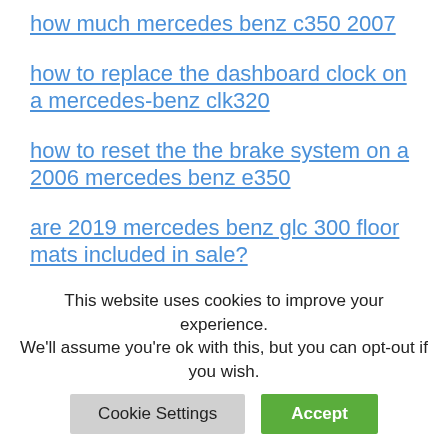how much mercedes benz c350 2007
how to replace the dashboard clock on a mercedes-benz clk320
how to reset the the brake system on a 2006 mercedes benz e350
are 2019 mercedes benz glc 300 floor mats included in sale?
how to change wiper blades 2013 mercedes benz c250
has mercedes benz fixed issues with
This website uses cookies to improve your experience. We'll assume you're ok with this, but you can opt-out if you wish.